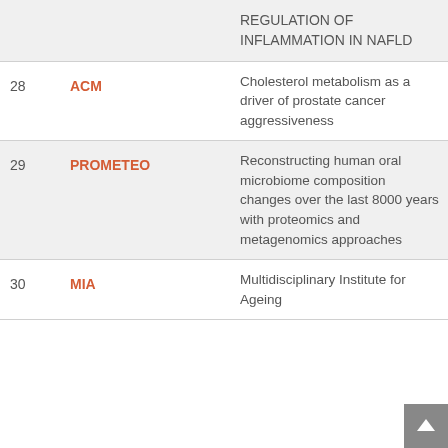| # | Acronym | Title |
| --- | --- | --- |
|  |  | REGULATION OF INFLAMMATION IN NAFLD |
| 28 | ACM | Cholesterol metabolism as a driver of prostate cancer aggressiveness |
| 29 | PROMETEO | Reconstructing human oral microbiome composition changes over the last 8000 years with proteomics and metagenomics approaches |
| 30 | MIA | Multidisciplinary Institute for Ageing |